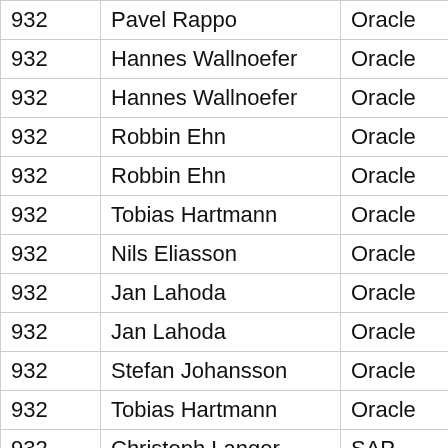| 932 | Pavel Rappo | Oracle | Pavel R |
| 932 | Hannes Wallnoefer | Oracle | Hannes |
| 932 | Hannes Wallnoefer | Oracle | Hannes |
| 932 | Robbin Ehn | Oracle | Robbin |
| 932 | Robbin Ehn | Oracle | Robbin |
| 932 | Tobias Hartmann | Oracle | Tobias |
| 932 | Nils Eliasson | Oracle | Nils Eli |
| 932 | Jan Lahoda | Oracle | Jan Lah |
| 932 | Jan Lahoda | Oracle | Jan Lah |
| 932 | Stefan Johansson | Oracle | Stefan |
| 932 | Tobias Hartmann | Oracle | Tobias |
| 932 | Christoph Langer | SAP | Christo |
| 932 | Ekaterina Pavlova | Oracle | Ekaterina |
| 933 | Mikael Vidstedt | Oracle | Mikael |
| 933 | John Jiang | Tencent | John Ji |
| 933 | Zhengyu Gu | Red Hat | Zhengy |